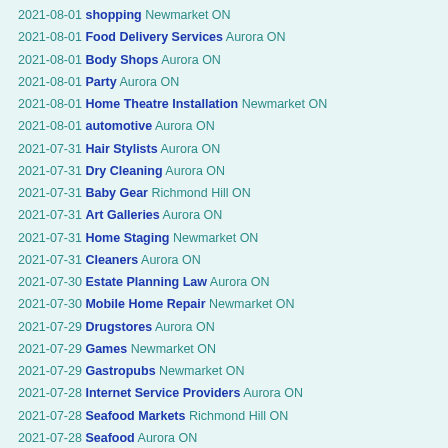2021-08-01 shopping Newmarket ON
2021-08-01 Food Delivery Services Aurora ON
2021-08-01 Body Shops Aurora ON
2021-08-01 Party Aurora ON
2021-08-01 Home Theatre Installation Newmarket ON
2021-08-01 automotive Aurora ON
2021-07-31 Hair Stylists Aurora ON
2021-07-31 Dry Cleaning Aurora ON
2021-07-31 Baby Gear Richmond Hill ON
2021-07-31 Art Galleries Aurora ON
2021-07-31 Home Staging Newmarket ON
2021-07-31 Cleaners Aurora ON
2021-07-30 Estate Planning Law Aurora ON
2021-07-30 Mobile Home Repair Newmarket ON
2021-07-29 Drugstores Aurora ON
2021-07-29 Games Newmarket ON
2021-07-29 Gastropubs Newmarket ON
2021-07-28 Internet Service Providers Aurora ON
2021-07-28 Seafood Markets Richmond Hill ON
2021-07-28 Seafood Aurora ON
2021-07-28 Cards Aurora ON
2021-07-28 Acupuncture Newmarket ON
2021-07-28 Cards Aurora ON